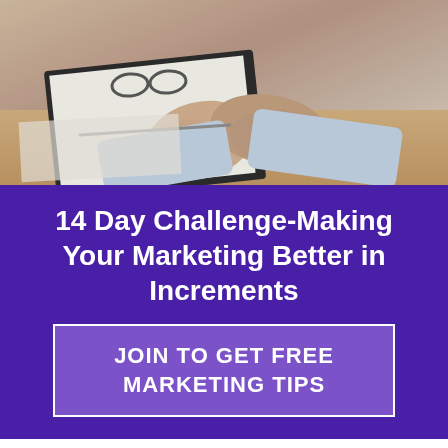[Figure (photo): Two people sitting at a desk with papers, clipboards, and glasses, hands clasped, business meeting scene]
14 Day Challenge-Making Your Marketing Better in Increments
JOIN TO GET FREE MARKETING TIPS
[Figure (logo): Constant Contact Partner logo — circular C icon with orange swoosh and blue/orange text]